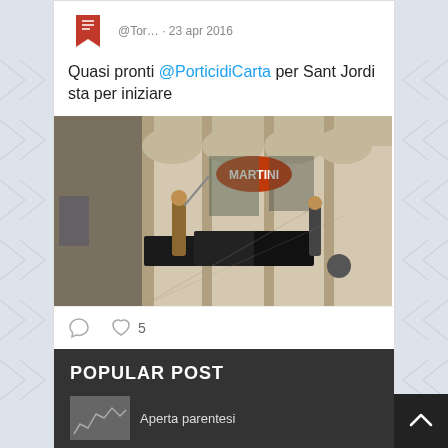[Figure (screenshot): Screenshot of a Twitter/social media post. Shows avatar icon with red bookmark logo, handle '@Tor... · 23 apr 2016', tweet text 'Quasi pronti @PorticidiCarta per Sant Jordi sta per iniziare', a photo of a portico/arcade street scene with Martini signage and people setting up tables, like/comment icons with 5 likes, and a next tweet preview row showing 'ArtInTime' with Twitter bird icon.]
POPULAR POST
Aperta parentesi